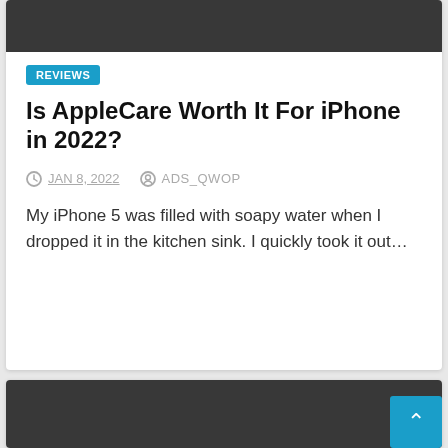[Figure (screenshot): Dark gray header bar of a website article card, partially visible at top]
REVIEWS
Is AppleCare Worth It For iPhone in 2022?
JAN 8, 2022   ADS_QWOP
My iPhone 5 was filled with soapy water when I dropped it in the kitchen sink. I quickly took it out...
[Figure (screenshot): Dark gray header bar of a second website article card, partially visible at bottom]